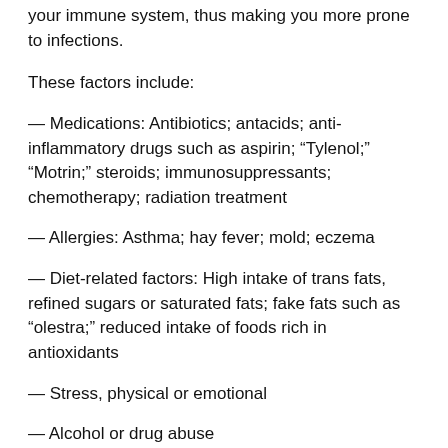your immune system, thus making you more prone to infections.
These factors include:
— Medications: Antibiotics; antacids; anti-inflammatory drugs such as aspirin; “Tylenol;” “Motrin;” steroids; immunosuppressants; chemotherapy; radiation treatment
— Allergies: Asthma; hay fever; mold; eczema
— Diet-related factors: High intake of trans fats, refined sugars or saturated fats; fake fats such as “olestra;” reduced intake of foods rich in antioxidants
— Stress, physical or emotional
— Alcohol or drug abuse
— Smoking or exposure to secondhand smoke